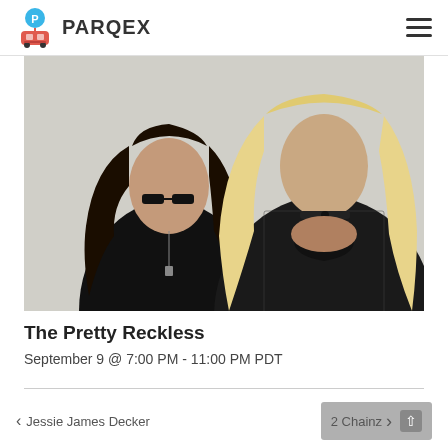PARQEX
[Figure (photo): Band photo of The Pretty Reckless — two band members, one with long dark curly hair and sunglasses wearing black, the other with long blonde hair wearing a black mesh outfit.]
The Pretty Reckless
September 9 @ 7:00 PM - 11:00 PM PDT
< Jessie James Decker    2 Chainz >